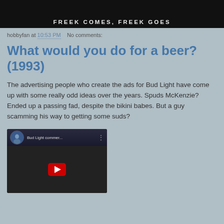[Figure (screenshot): Top portion of a dark video thumbnail showing text 'FREEK COMES, FREEK GOES' in bold letters on a black background]
hobbyfan at 10:53 PM   No comments:
What would you do for a beer? (1993)
The advertising people who create the ads for Bud Light have come up with some really odd ideas over the years. Spuds McKenzie? Ended up a passing fad, despite the bikini babes. But a guy scamming his way to getting some suds?
[Figure (screenshot): YouTube video thumbnail showing 'Bud Light commer...' with a play button, featuring a young man in what appears to be an office setting]